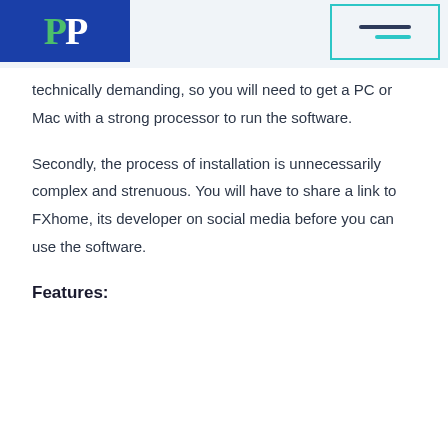PP [logo]
technically demanding, so you will need to get a PC or Mac with a strong processor to run the software.
Secondly, the process of installation is unnecessarily complex and strenuous. You will have to share a link to FXhome, its developer on social media before you can use the software.
Features: